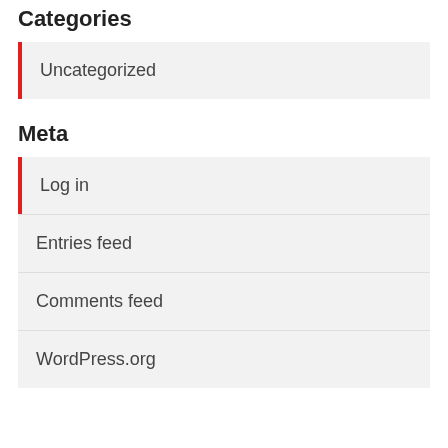Categories
Uncategorized
Meta
Log in
Entries feed
Comments feed
WordPress.org